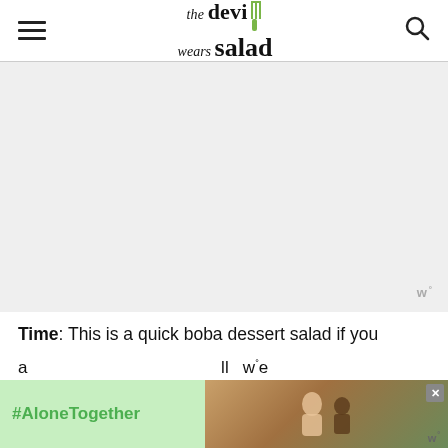the devi wears salad — navigation logo and search
[Figure (photo): Large white/light gray blank image area placeholder for a food photo, with a watermark 'w°' in the bottom right corner]
Time: This is a quick boba dessert salad if you a[re]... [partial text continues] le...
[Figure (screenshot): Advertisement banner: left side green background with '#AloneTogether' text in green, right side shows a stock photo of a man and child laughing at a laptop, with a close button X and 'w°' watermark]